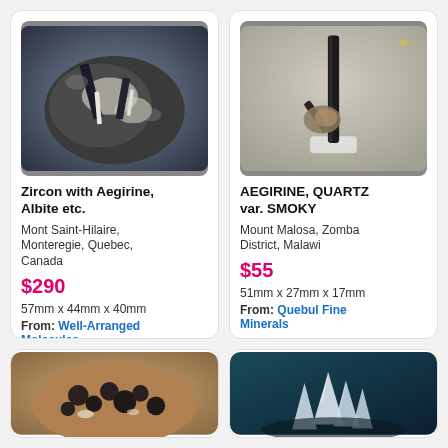[Figure (photo): Photo of Zircon with Aegirine and Albite mineral specimen on dark matrix background]
Zircon with Aegirine, Albite etc.
Mont Saint-Hilaire, Monteregie, Quebec, Canada
$290
57mm x 44mm x 40mm
From: Well-Arranged Molecules
[Figure (photo): Photo of Aegirine Quartz var. Smoky mineral specimen with tall dark crystal on white background]
AEGIRINE, QUARTZ var. SMOKY
Mount Malosa, Zomba District, Malawi
$55
51mm x 27mm x 17mm
From: Quebul Fine Minerals
[Figure (photo): Partial view of mineral specimen with dark rounded crystals on brownish matrix]
[Figure (photo): Partial view of mineral specimen with bluish-white crystals on teal background]